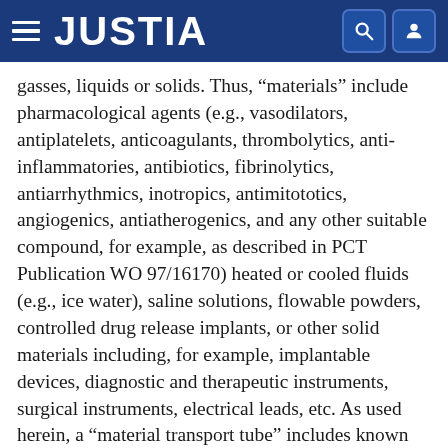JUSTIA
gasses, liquids or solids. Thus, “materials” include pharmacological agents (e.g., vasodilators, antiplatelets, anticoagulants, thrombolytics, anti-inflammatories, antibiotics, fibrinolytics, antiarrhythmics, inotropics, antimitototics, angiogenics, antiatherogenics, and any other suitable compound, for example, as described in PCT Publication WO 97/16170) heated or cooled fluids (e.g., ice water), saline solutions, flowable powders, controlled drug release implants, or other solid materials including, for example, implantable devices, diagnostic and therapeutic instruments, surgical instruments, electrical leads, etc. As used herein, a “material transport tube” includes known catheters, trocars, hollow guidewires, or other similar devices that serve as a conduit for delivery or removal of a material to or from a site.